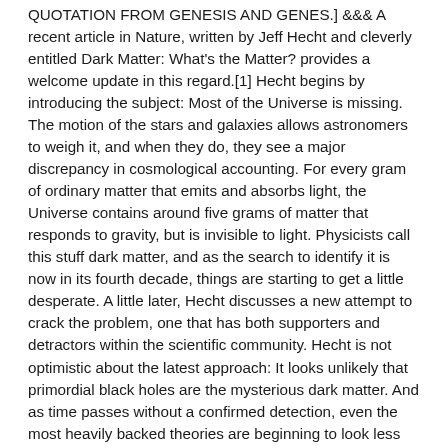QUOTATION FROM GENESIS AND GENES.] &&& A recent article in Nature, written by Jeff Hecht and cleverly entitled Dark Matter: What's the Matter? provides a welcome update in this regard.[1] Hecht begins by introducing the subject: Most of the Universe is missing. The motion of the stars and galaxies allows astronomers to weigh it, and when they do, they see a major discrepancy in cosmological accounting. For every gram of ordinary matter that emits and absorbs light, the Universe contains around five grams of matter that responds to gravity, but is invisible to light. Physicists call this stuff dark matter, and as the search to identify it is now in its fourth decade, things are starting to get a little desperate. A little later, Hecht discusses a new attempt to crack the problem, one that has both supporters and detractors within the scientific community. Hecht is not optimistic about the latest approach: It looks unlikely that primordial black holes are the mysterious dark matter. And as time passes without a confirmed detection, even the most heavily backed theories are beginning to look less likely. A series of experiments have systematically searched for, and failed to find, the theoretical candidates for dark matter — one by one, the possibilities are being reduced. A raft of experiments